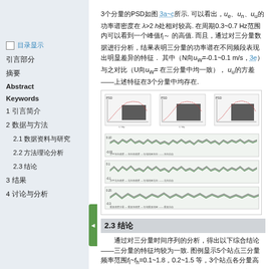3个分量的PSD如图 3a~c所示. 可以看出，ue、un、uu的功率谱密度在λ>2 h处相对较高. 在周期0.3~0.7 Hz范围内可以看到一个峰值fl～，之后. 从南北分量的功率谱密度峰值与（N向uw=-0.1~0.1 m/s，图3e）比较（U向uw=...）中，uu的方差——上述特征在3个分量中均存在.
[Figure (continuous-plot): Multi-panel figure showing PSD plots (top row, 3 panels) and time series of three components (ue, un, uu) with multiple overlaid lines in green and black, showing oscillation patterns over time approximately from 0 to 14 units.]
2.3 结论
通过对三分量时间序列的分析，得出以下综合结论——三个分量的特征均较为一致. 图例显示5个站点三分量频率范围fl~fh=0.1~1.8，0.2~1.5等，3个站点各分量高峰均分布在0.4~0.6，0.4~0.5 Hz范围, 图4b，和高于0，与图例中（图4b~d）对应的说明相吻合.